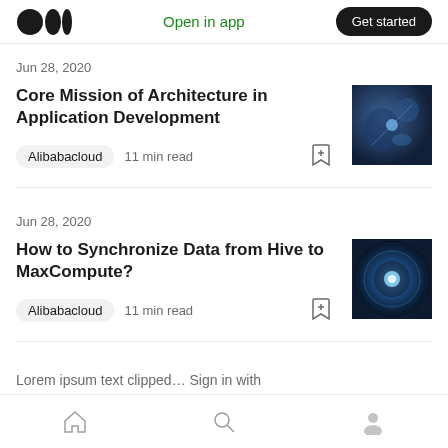Medium logo | Open in app | Get started
Jun 28, 2020
Core Mission of Architecture in Application Development
Alibabacloud  11 min read
[Figure (photo): Dark blue tech photo showing a hand touching a glowing screen]
Jun 28, 2020
How to Synchronize Data from Hive to MaxCompute?
Alibabacloud  11 min read
[Figure (photo): Dark blue abstract tech/data photo with glowing orb]
Home | Search | Profile